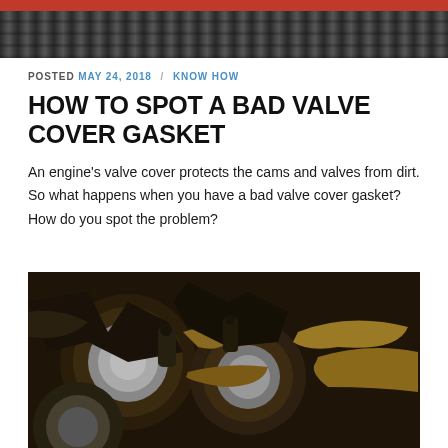[Figure (photo): Close-up photo of a red valve cover on an engine with chain mechanism visible below]
POSTED MAY 24, 2018 / KNOW HOW
HOW TO SPOT A BAD VALVE COVER GASKET
An engine's valve cover protects the cams and valves from dirt. So what happens when you have a bad valve cover gasket? How do you spot the problem?
[Figure (photo): Close-up photo of engine components showing oil-covered valve train parts with visible wear and residue, likely demonstrating a bad valve cover gasket]